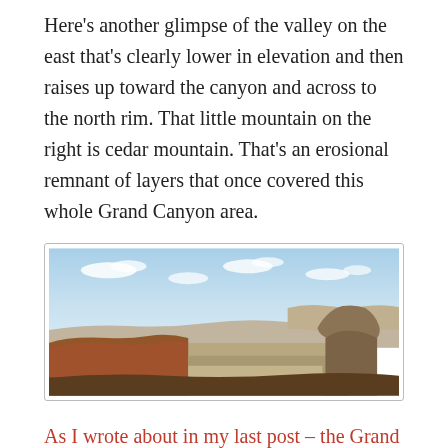Here's another glimpse of the valley on the east that's clearly lower in elevation and then raises up toward the canyon and across to the north rim. That little mountain on the right is cedar mountain. That's an erosional remnant of layers that once covered this whole Grand Canyon area.
[Figure (photo): Panoramic landscape photo of the Grand Canyon area showing a valley to the east, canyon rim, and cedar mountain (a butte/hill) on the right side, with a blue sky with scattered clouds above.]
As I wrote about in my last post – the Grand Canyon shouts the Lords name as Creator but also as Judge. I do believe this Canyon was formed because of the catastrophic worldwide devastation of the flood, told to